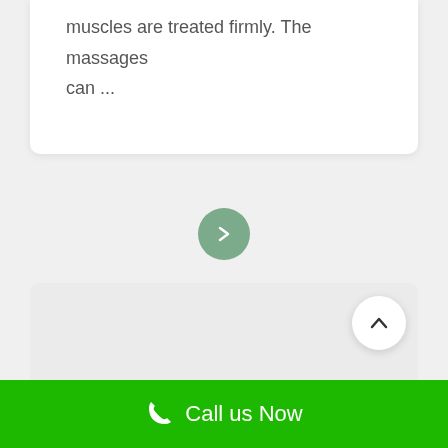muscles are treated firmly. The massages can ...
[Figure (other): Green circular button with right-pointing chevron arrow]
MASSAGE
[Figure (other): White circular scroll-to-top button with upward chevron arrow]
Call us Now